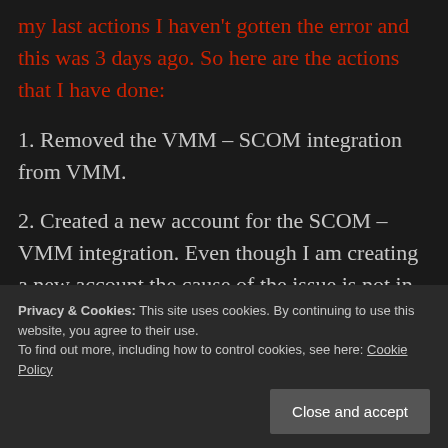my last actions I haven't gotten the error and this was 3 days ago. So here are the actions that I have done:
1. Removed the VMM – SCOM integration from VMM.
2. Created a new account for the SCOM – VMM integration. Even though I am creating a new account the cause of the issue is not in the account.
3. Removed the VMM Run As account from SCOM. If you remove the integration from VMM the Run As account is not deleted. In fact if you create the
Privacy & Cookies: This site uses cookies. By continuing to use this website, you agree to their use. To find out more, including how to control cookies, see here: Cookie Policy
4. Gave the new account appropriate permissions –